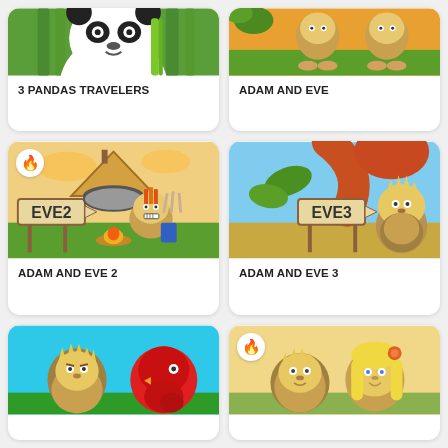[Figure (illustration): 3 Pandas Travelers game card - panda illustration with bamboo background, partially cropped at top]
3 PANDAS TRAVELERS
[Figure (illustration): Adam and Eve game card - cave people illustration with orange/green background, partially cropped at top]
ADAM AND EVE
[Figure (illustration): Adam and Eve 2 game card - caveman character near hut with EVE2 sign, fire badge badge overlay]
ADAM AND EVE 2
[Figure (illustration): Adam and Eve 3 game card - caveman character with EVE3 sign and giant mushroom/plant]
ADAM AND EVE 3
[Figure (illustration): Bottom left game card - caveman and red bird on cyan background, cropped]
[Figure (illustration): Bottom right game card - caveman couple illustration with fire badge, cropped]